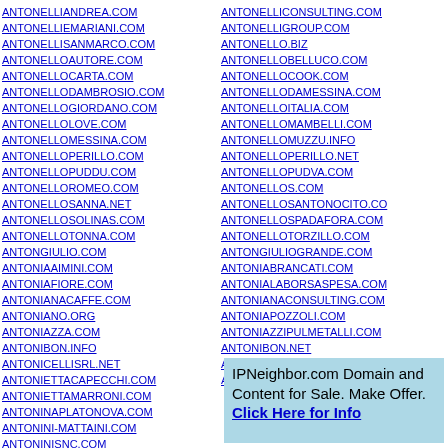ANTONELLIANDREA.COM
ANTONELLIEMARIANI.COM
ANTONELLISANMARCO.COM
ANTONELLOAUTORE.COM
ANTONELLOCARTA.COM
ANTONELLODAMBROSIO.COM
ANTONELLOGIORDANO.COM
ANTONELLOLOVE.COM
ANTONELLOMESSINA.COM
ANTONELLOPERILLO.COM
ANTONELLOPUDDU.COM
ANTONELLOROMEO.COM
ANTONELLOSANNA.NET
ANTONELLOSOLINAS.COM
ANTONELLOTONNA.COM
ANTONGIULIO.COM
ANTONIAAIMINI.COM
ANTONIAFIORE.COM
ANTONIANACAFFE.COM
ANTONIANO.ORG
ANTONIAZZA.COM
ANTONIBON.INFO
ANTONICELLISRL.NET
ANTONIETTACAPECCHI.COM
ANTONIETTAMARRONI.COM
ANTONINAPLATONOVA.COM
ANTONINI-MATTAINI.COM
ANTONINISNC.COM
ANTONELLICONSULTING.COM
ANTONELLIGROUP.COM
ANTONELLO.BIZ
ANTONELLOBELLUCO.COM
ANTONELLOCOOK.COM
ANTONELLODAMESSINA.COM
ANTONELLOITALIA.COM
ANTONELLOMAMBELLI.COM
ANTONELLOMUZZU.INFO
ANTONELLOPERILLO.NET
ANTONELLOPUDVA.COM
ANTONELLOS.COM
ANTONELLOSANTONOCITO.CO
ANTONELLOSPADAFORA.COM
ANTONELLOTORZILLO.COM
ANTONGIULIOGRANDE.COM
ANTONIABRANCATI.COM
ANTONIALABORSASPESA.COM
ANTONIANACONSULTING.COM
ANTONIAPOZZOLI.COM
ANTONIAZZIPULMETALLI.COM
ANTONIBON.NET
ANTONICO.COM
ANTONIETTACASINI.COM
IPNeighbor.com Domain and Content for Sale. Make Offer. Click Here for Info